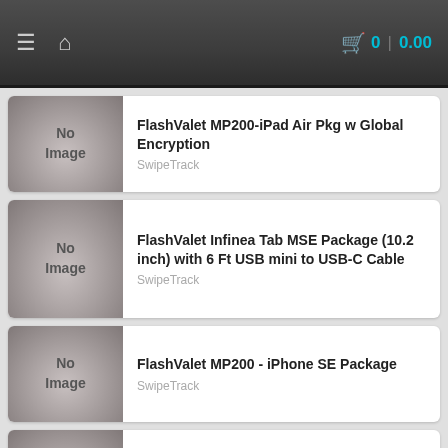≡  🏠   🛒 0 | 0.00
FlashValet MP200-iPad Air Pkg w Global Encryption
SwipeTrack
FlashValet Infinea Tab MSE Package (10.2 inch) with 6 Ft USB mini to USB-C Cable
SwipeTrack
FlashValet MP200 - iPhone SE Package
SwipeTrack
FlashValet MP200 - iPhone 11 Package
SwipeTrack
FlashValet MP200 - iPhone 6 Package